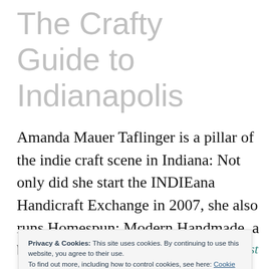The Crafty Guide to Indianapolis
Amanda Mauer Taflinger is a pillar of the indie craft scene in Indiana: Not only did she start the INDIEana Handicraft Exchange in 2007, she also runs Homespun: Modern Handmade, a bricks-and-mortar store
Privacy & Cookies: This site uses cookies. By continuing to use this website, you agree to their use. To find out more, including how to control cookies, see here: Cookie Policy
Close and accept
There’s still time to get your ticket to Midwest